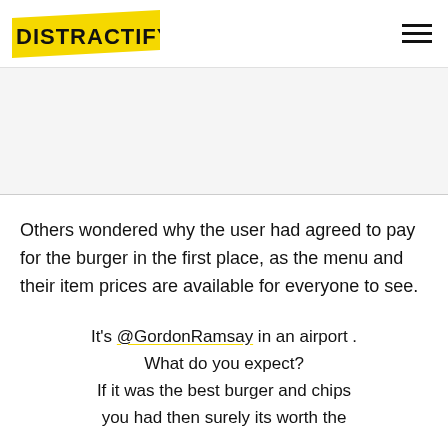DISTRACTIFY
[Figure (other): Gray advertisement placeholder area]
Others wondered why the user had agreed to pay for the burger in the first place, as the menu and their item prices are available for everyone to see.
It's @GordonRamsay in an airport . What do you expect? If it was the best burger and chips you had then surely its worth the